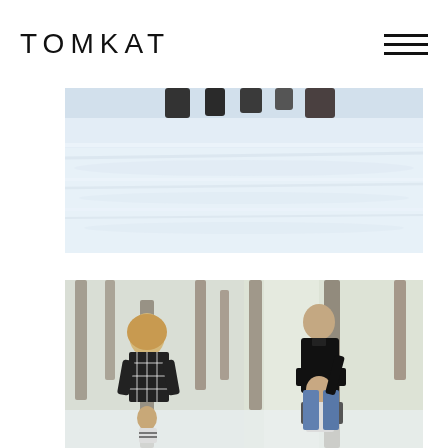TOMKAT
[Figure (photo): People standing in deep snow in a winter landscape, viewed partially from above showing snowy terrain with shadows]
[Figure (photo): Left: Woman with blonde hair in black and white plaid shirt bending down toward a small child in striped shirt, in snowy forest setting. Right: Man in black jacket standing with a young boy in white long-sleeve shirt, in snowy forest setting.]